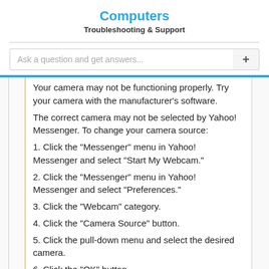Computers
Troubleshooting & Support
Ask a question and get answers...
Your camera may not be functioning properly. Try your camera with the manufacturer's software.
The correct camera may not be selected by Yahoo! Messenger. To change your camera source:
1. Click the "Messenger" menu in Yahoo! Messenger and select "Start My Webcam."
2. Click the "Messenger" menu in Yahoo! Messenger and select "Preferences."
3. Click the "Webcam" category.
4. Click the "Camera Source" button.
5. Click the pull-down menu and select the desired camera.
6. Click the "OK" button.
If you see a black screen when viewing a